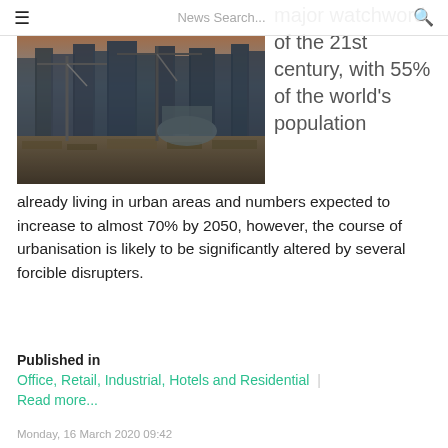≡  News Search...  🔍
[Figure (photo): Construction site with cranes and city skyscrapers in background at dusk]
major watchword of the 21st century, with 55% of the world's population already living in urban areas and numbers expected to increase to almost 70% by 2050, however, the course of urbanisation is likely to be significantly altered by several forcible disrupters.
Published in
Office, Retail, Industrial, Hotels and Residential |
Read more...
Monday, 16 March 2020 09:42